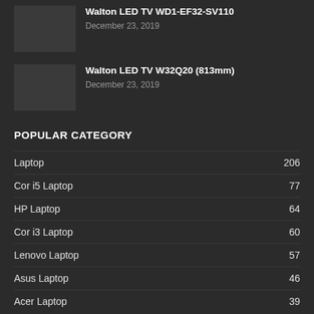Walton LED TV WD1-EF32-SV110
December 23, 2019
Walton LED TV W32Q20 (813mm)
December 23, 2019
POPULAR CATEGORY
Laptop 206
Cor i5 Laptop 77
HP Laptop 64
Cor i3 Laptop 60
Lenovo Laptop 57
Asus Laptop 46
Acer Laptop 39